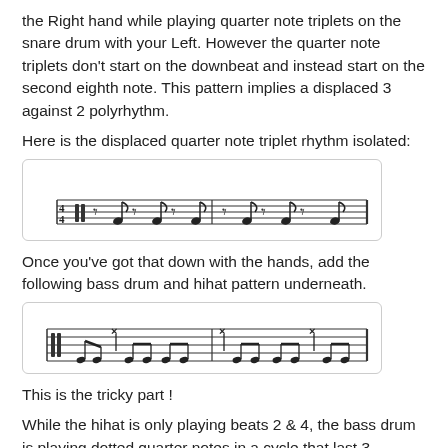the Right hand while playing quarter note triplets on the snare drum with your Left. However the quarter note triplets don't start on the downbeat and instead start on the second eighth note. This pattern implies a displaced 3 against 2 polyrhythm.
Here is the displaced quarter note triplet rhythm isolated:
[Figure (illustration): Musical notation showing displaced quarter note triplet rhythm in 4/4 time, with eighth-note triplet pattern across two measures]
Once you've got that down with the hands, add the following bass drum and hihat pattern underneath.
[Figure (illustration): Musical notation showing bass drum and hihat pattern underneath, with various note symbols and beams across two measures]
This is the tricky part !
While the hihat is only playing beats 2 & 4, the bass drum is playing dotted quarter notes in a cycle that last 3 measures